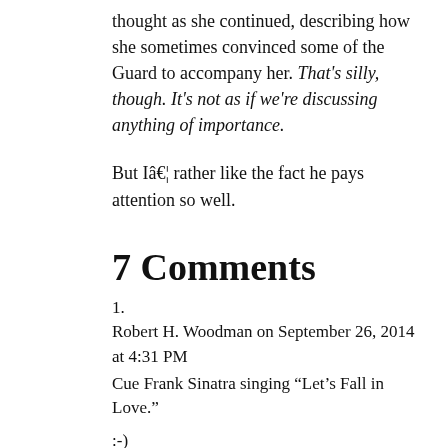thought as she continued, describing how she sometimes convinced some of the Guard to accompany her. That's silly, though. It's not as if we're discussing anything of importance.
But I… rather like the fact he pays attention so well.
7 Comments
1.
Robert H. Woodman on September 26, 2014 at 4:31 PM
Cue Frank Sinatra singing “Let’s Fall in Love.”
:-)
Ryk Spoor on September 26, 2014 at 7:12 PM